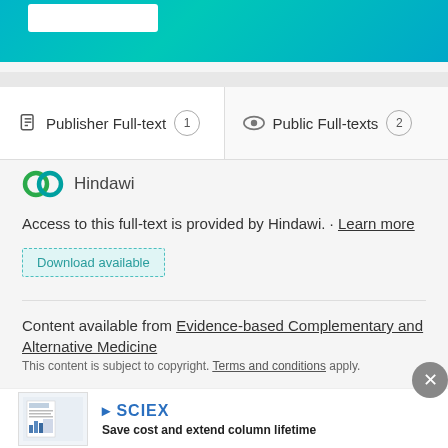[Figure (screenshot): Top teal/blue gradient banner with a white search box]
Publisher Full-text 1
Public Full-texts 2
[Figure (logo): Hindawi logo with interlocking green circles and Hindawi text]
Access to this full-text is provided by Hindawi. · Learn more
Download available
Content available from Evidence-based Complementary and Alternative Medicine
This content is subject to copyright. Terms and conditions apply.
[Figure (screenshot): Close (X) button, grey circle]
[Figure (advertisement): SCIEX advertisement with thumbnail and tagline Save cost and extend column lifetime]